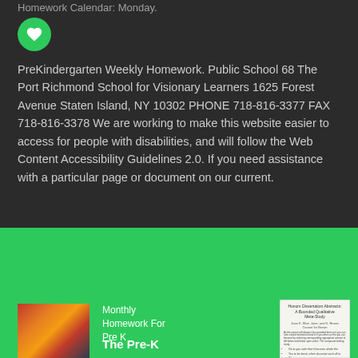Homework Calendar: Monday.
[Figure (illustration): Green circle icon with a heart/like symbol]
PreKindergarten Weekly Homework. Public School 68 The Port Richmond School for Visionary Learners 1625 Forest Avenue Staten Island, NY 10302 PHONE 718-816-3377 FAX 718-816-3378 We are working to make this website easier to access for people with disabilities, and will follow the Web Content Accessibility Guidelines 2.0. If you need assistance with a particular page or document on our current.
[Figure (photo): Group of students photo]
Monthly Homework For Pre K
The Pre-K
[Figure (screenshot): Document thumbnail: Honors Dissertation Abstracts: A Bounded Qualitative Meta-Study]